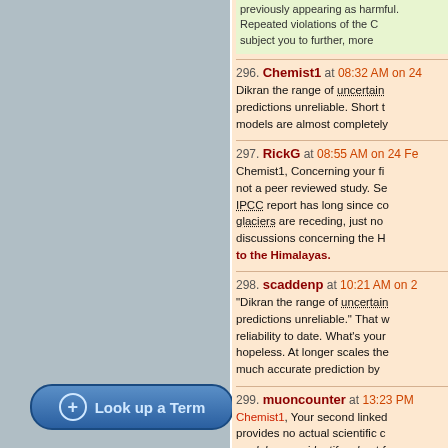previously appearing as harmful. Repeated violations of the Community Guidelines will subject you to further, more
296. Chemist1 at 08:32 AM on 24 — Dikran the range of uncertain predictions unreliable. Short t models are almost completely
297. RickG at 08:55 AM on 24 Fe — Chemist1, Concerning your fi not a peer reviewed study. Se IPCC report has long since co glaciers are receding, just no discussions concerning the H to the Himalayas.
298. scaddenp at 10:21 AM on 2 — "Dikran the range of uncertain predictions unreliable." That w reliability to date. What's your hopeless. At longer scales the much accurate prediction by
299. muoncounter at 13:23 PM — Chemist1, Your second linked provides no actual scientific c model errors, identify robust f
Look up a Term